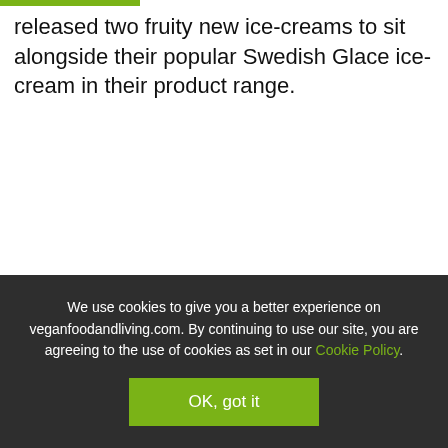released two fruity new ice-creams to sit alongside their popular Swedish Glace ice-cream in their product range.
We use cookies to give you a better experience on veganfoodandliving.com. By continuing to use our site, you are agreeing to the use of cookies as set in our Cookie Policy.
OK, got it